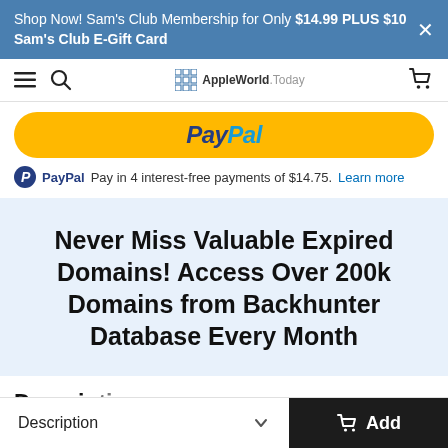Shop Now! Sam's Club Membership for Only $14.99 PLUS $10 Sam's Club E-Gift Card
[Figure (screenshot): AppleWorld.Today website navigation bar with hamburger menu, search icon, logo, and cart icon]
[Figure (screenshot): PayPal checkout button (yellow rounded rectangle with PayPal logo)]
PayPal Pay in 4 interest-free payments of $14.75. Learn more
Never Miss Valuable Expired Domains! Access Over 200k Domains from Backhunter Database Every Month
Description
Description  Add